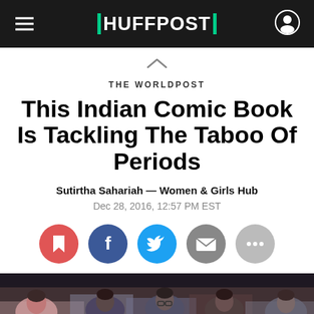HUFFPOST
THE WORLDPOST
This Indian Comic Book Is Tackling The Taboo Of Periods
Sutirtha Sahariah — Women & Girls Hub
Dec 28, 2016, 12:57 PM EST
[Figure (infographic): Row of five social sharing icon buttons: bookmark (red), Facebook (blue), Twitter (light blue), email (gray), more/share (light gray)]
[Figure (photo): Photo of young Indian schoolgirls sitting and reading/studying, partially visible at the bottom of the page]